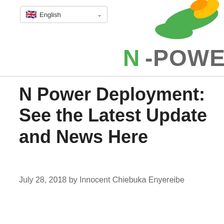English | N-POWER logo
[Figure (logo): N-Power logo with green and yellow hand/leaf motif and stylized green N-POWER text]
N Power Deployment: See the Latest Update and News Here
July 28, 2018 by Innocent Chiebuka Enyereibe